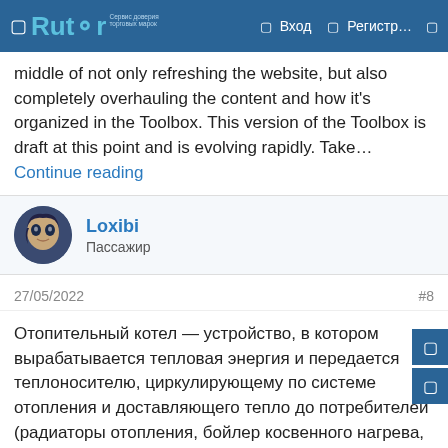Rutor — Вход — Регистр…
middle of not only refreshing the website, but also completely overhauling the content and how it's organized in the Toolbox. This version of the Toolbox is draft at this point and is evolving rapidly. Take…Continue reading
Loxibi
Пассажир
27/05/2022
#8
Отопительный котел — устройство, в котором вырабатывается тепловая энергия и передается теплоносителю, циркулирующему по системе отопления и доставляющего тепло до потребителей (радиаторы отопления, бойлер косвенного нагрева, водяной теплый пол и т.д.). Функции теплоносителя могут выполнять вода или незамерзающая жидкость (антифриз). В нашем интернет-магазине Progreem.by можно заказать котел для отопления дома от брендов TIS, Drew-Met, Kronas, Маяк, BOSCH,